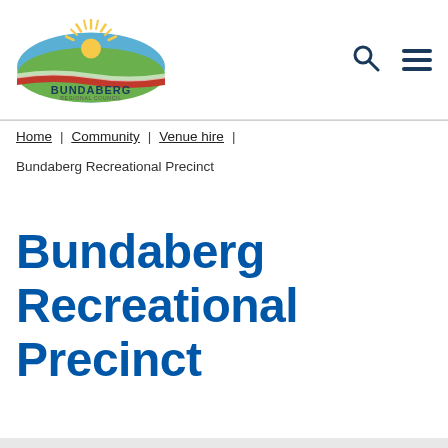[Figure (logo): Bundaberg Regional Council logo with stylized sun/landscape graphic above 'BUNDABERG REGIONAL COUNCIL' text in dark blue and red]
Home | Community | Venue hire |
Bundaberg Recreational Precinct
Bundaberg Recreational Precinct